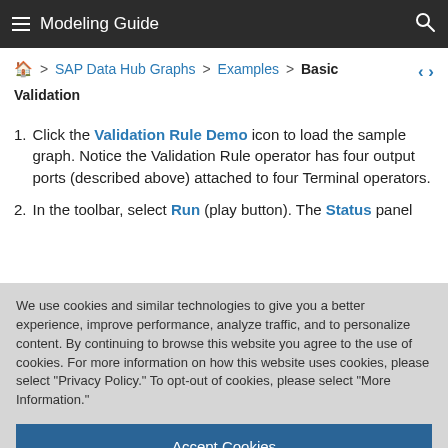Modeling Guide
🏠 > SAP Data Hub Graphs > Examples > Basic Validation
1. Click the Validation Rule Demo icon to load the sample graph. Notice the Validation Rule operator has four output ports (described above) attached to four Terminal operators.
2. In the toolbar, select Run (play button). The Status panel...
We use cookies and similar technologies to give you a better experience, improve performance, analyze traffic, and to personalize content. By continuing to browse this website you agree to the use of cookies. For more information on how this website uses cookies, please select "Privacy Policy." To opt-out of cookies, please select "More Information."
Accept Cookies
More Information
Privacy Policy | Powered by: TrustArc